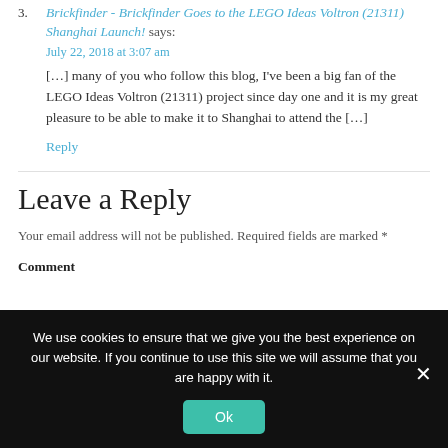3. Brickfinder - Brickfinder Goes to the LEGO Ideas Voltron (21311) Shanghai Launch! says:
July 22, 2018 at 3:07 am
[…] many of you who follow this blog, I've been a big fan of the LEGO Ideas Voltron (21311) project since day one and it is my great pleasure to be able to make it to Shanghai to attend the […]
Reply
Leave a Reply
Your email address will not be published. Required fields are marked *
Comment
We use cookies to ensure that we give you the best experience on our website. If you continue to use this site we will assume that you are happy with it.